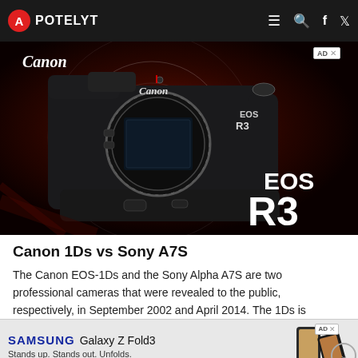APOTELYT
[Figure (photo): Canon EOS R3 camera advertisement image. Dark red/black background with the Canon EOS R3 mirrorless camera body shown. Canon logo top-left and top-center. EOS R3 text large on bottom-right. 'EOS R3' branding on camera body. AD badge top-right.]
Canon 1Ds vs Sony A7S
The Canon EOS-1Ds and the Sony Alpha A7S are two professional cameras that were revealed to the public, respectively, in September 2002 and April 2014. The 1Ds is
[Figure (photo): Samsung Galaxy Z Fold3 advertisement. White/gray background. Samsung logo in blue, Galaxy Z Fold3 text, 'Stands up. Stands out. Unfolds.' tagline, image of folded phone on right side. AD badge top-right.]